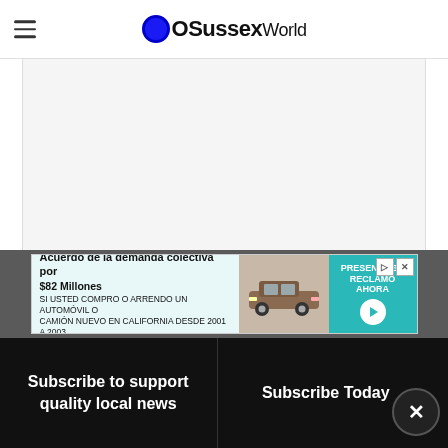OSussexWorld
[Figure (photo): Large image area, mostly white/blank — article image placeholder]
[Figure (other): Advertisement banner: Acuerdo de la demanda colectiva por $82 Millones — SI USTED COMPRO O ARRENDO UN AUTOMOVIL O CAMION NUEVO EN CALIFORNIA DESDE 2001 A 2003 — PRESENTE SU RECLAMO AHORA]
Subscribe to support quality local news
Subscribe Today